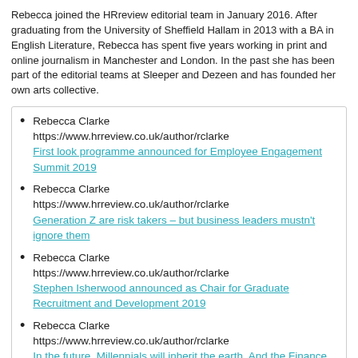Rebecca joined the HRreview editorial team in January 2016. After graduating from the University of Sheffield Hallam in 2013 with a BA in English Literature, Rebecca has spent five years working in print and online journalism in Manchester and London. In the past she has been part of the editorial teams at Sleeper and Dezeen and has founded her own arts collective.
Rebecca Clarke
https://www.hrreview.co.uk/author/rclarke
First look programme announced for Employee Engagement Summit 2019
Rebecca Clarke
https://www.hrreview.co.uk/author/rclarke
Generation Z are risk takers – but business leaders mustn't ignore them
Rebecca Clarke
https://www.hrreview.co.uk/author/rclarke
Stephen Isherwood announced as Chair for Graduate Recruitment and Development 2019
Rebecca Clarke
https://www.hrreview.co.uk/author/rclarke
In the future, Millennials will inherit the earth. And the Finance department. Is your business ready?
Share: